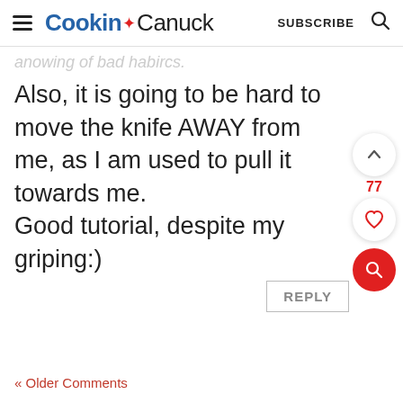Cookin Canuck  SUBSCRIBE
...throwing of bad habires.
Also, it is going to be hard to move the knife AWAY from me, as I am used to pull it towards me.
Good tutorial, despite my griping:)
REPLY
77
« Older Comments